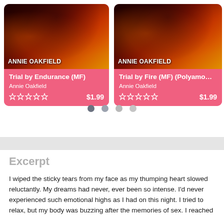[Figure (screenshot): Book card for 'Trial by Endurance (MF)' by Annie Oakfield, showing a fiery book cover with the author name, star rating (empty), and price $1.99 on a pink/red background]
[Figure (screenshot): Book card for 'Trial by Fire (MF) (Polyamo...)' by Annie Oakfield, showing a fiery book cover with the author name, star rating (empty), and price $1.99 on a pink/red background]
Excerpt
I wiped the sticky tears from my face as my thumping heart slowed reluctantly. My dreams had never, ever been so intense. I'd never experienced such emotional highs as I had on this night. I tried to relax, but my body was buzzing after the memories of sex. I reached